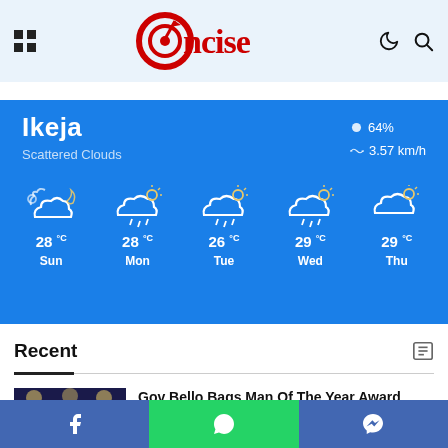Concise (logo header with menu and search icons)
[Figure (infographic): Weather widget for Ikeja showing Scattered Clouds, 64% humidity, 3.57 km/h wind. 5-day forecast: Sun 28°C, Mon 28°C, Tue 26°C, Wed 29°C, Thu 29°C]
Recent
Gov Bello Bags Man Of The Year Award
2 days ago
Facebook | WhatsApp | Messenger (social share bar)